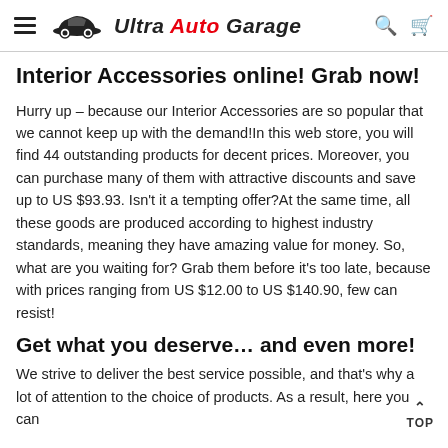Ultra Auto Garage
Interior Accessories online! Grab now!
Hurry up – because our Interior Accessories are so popular that we cannot keep up with the demand!In this web store, you will find 44 outstanding products for decent prices. Moreover, you can purchase many of them with attractive discounts and save up to US $93.93. Isn't it a tempting offer?At the same time, all these goods are produced according to highest industry standards, meaning they have amazing value for money. So, what are you waiting for? Grab them before it's too late, because with prices ranging from US $12.00 to US $140.90, few can resist!
Get what you deserve… and even more!
We strive to deliver the best service possible, and that's why a lot of attention to the choice of products. As a result, here you can